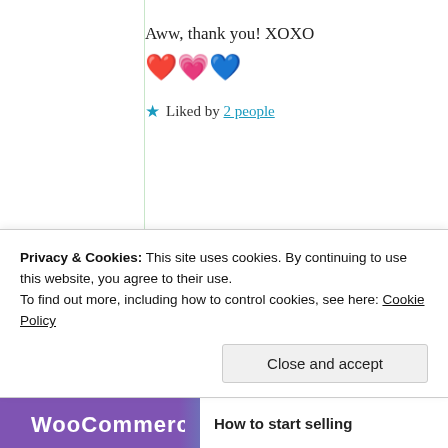Aww, thank you! XOXO ❤️💗💙
★ Liked by 2 people
Suma Reddy
9th Jun 2021 at 4:19 am
Privacy & Cookies: This site uses cookies. By continuing to use this website, you agree to their use.
To find out more, including how to control cookies, see here: Cookie Policy
Close and accept
How to start selling